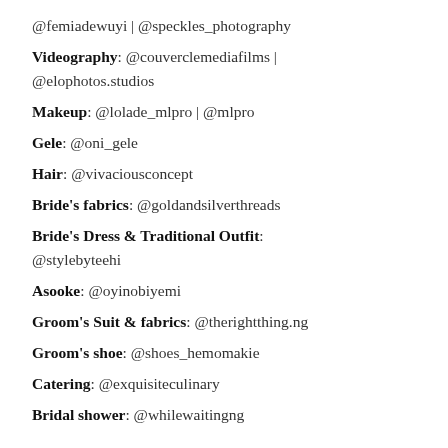@femiadewuyi | @speckles_photography
Videography: @couverclemediafilms | @elophotos.studios
Makeup: @lolade_mlpro | @mlpro
Gele: @oni_gele
Hair: @vivaciousconcept
Bride's fabrics: @goldandsilverthreads
Bride's Dress & Traditional Outfit: @stylebyteehi
Asooke: @oyinobiyemi
Groom's Suit & fabrics: @therightthing.ng
Groom's shoe: @shoes_hemomakie
Catering: @exquisiteculinary
Bridal shower: @whilewaitingng